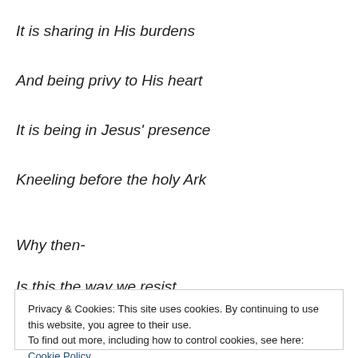It is sharing in His burdens
And being privy to His heart
It is being in Jesus' presence
Kneeling before the holy Ark
Why then-
Is this the way we resist
Privacy & Cookies: This site uses cookies. By continuing to use this website, you agree to their use. To find out more, including how to control cookies, see here: Cookie Policy